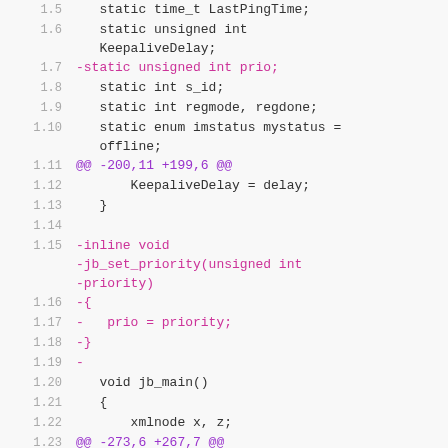[Figure (screenshot): Code diff view showing lines 1.5 through 1.29 of a C source file with removed lines (magenta) and added lines (green), including hunk headers, static variable declarations, and function definitions.]